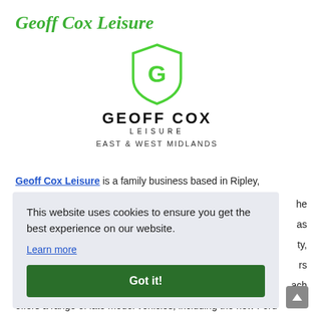Geoff Cox Leisure
[Figure (logo): Geoff Cox Leisure logo — shield shape in green with stylized G, text GEOFF COX LEISURE, EAST & WEST MIDLANDS]
Geoff Cox Leisure is a family business based in Ripley,
This website uses cookies to ensure you get the best experience on our website. Learn more Got it!
offers a range of late model vehicles, including the new Ford